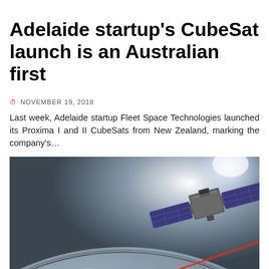Adelaide startup's CubeSat launch is an Australian first
NOVEMBER 19, 2018
Last week, Adelaide startup Fleet Space Technologies launched its Proxima I and II CubeSats from New Zealand, marking the company's…
[Figure (photo): Artistic rendering of a CubeSat satellite in low Earth orbit, with solar panels extended and a red laser beam pointing down toward the Earth's surface, with Earth's curved horizon and atmosphere visible in the background.]